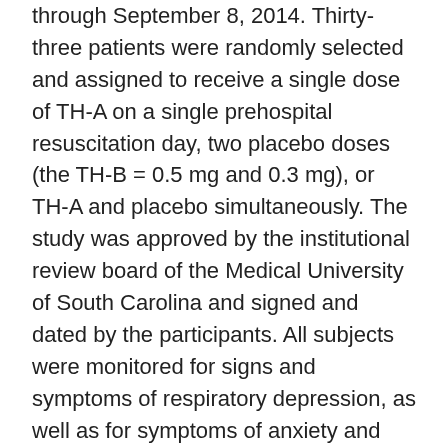through September 8, 2014. Thirty-three patients were randomly selected and assigned to receive a single dose of TH-A on a single prehospital resuscitation day, two placebo doses (the TH-B = 0.5 mg and 0.3 mg), or TH-A and placebo simultaneously. The study was approved by the institutional review board of the Medical University of South Carolina and signed and dated by the participants. All subjects were monitored for signs and symptoms of respiratory depression, as well as for symptoms of anxiety and depression. There was no significant difference between the TH-A and placebo groups in any of the outcomes, including change in body temperature, oxygen saturation or pressure, heart rate, or respiratory rate measured using a pulse oximeter.
For all subjects, prehospital air was adjusted to maintain 70% O 2 saturation, and the use